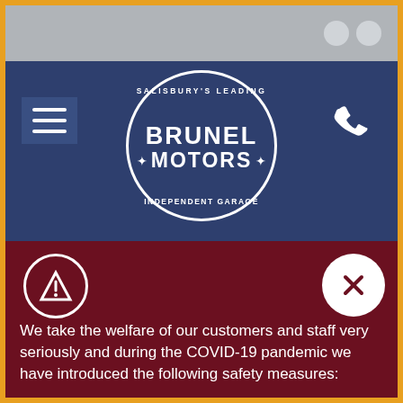[Figure (screenshot): Website screenshot of Brunel Motors garage website showing navigation header with logo, hamburger menu, phone icon, and a COVID-19 safety measures notice on dark red background]
BRUNEL MOTORS - SALISBURY'S LEADING INDEPENDENT GARAGE
We take the welfare of our customers and staff very seriously and during the COVID-19 pandemic we have introduced the following safety measures:
All staff members are provided with and use masks & gloves. New set provided per customer
The card machine is sanitised after every use
Customer vehicles and keys are sanitised with